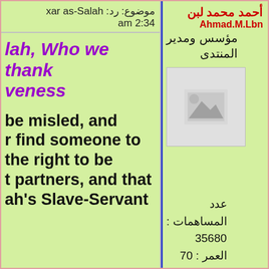موضوع: رد: xar as-Salah  am 2:34
أحمد محمد لبن
Ahmad.M.Lbn
مؤسس ومدير المنتدى
lah, Who we thank
veness
[Figure (photo): Placeholder avatar image]
be misled, and
r find someone to
the right to be
t partners, and that
ah's Slave-Servant
عدد المساهمات : 35680
العمر : 70